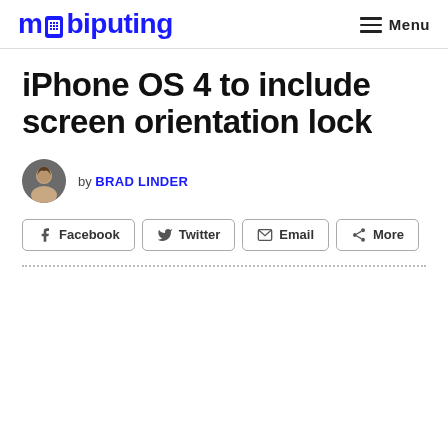mobiputing  Menu
iPhone OS 4 to include screen orientation lock
by BRAD LINDER
Facebook  Twitter  Email  More